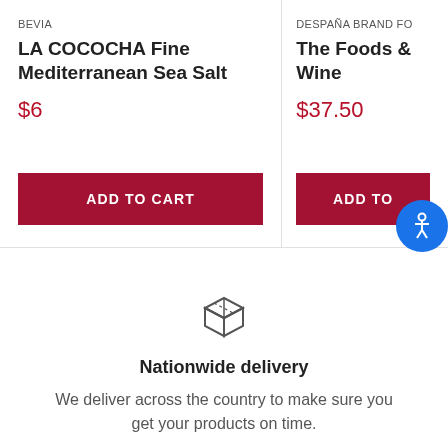BEVIA
LA COCOCHA Fine Mediterranean Sea Salt
$6
ADD TO CART
DESPAÑA BRAND FO
The Foods & Wine
$37.50
ADD TO
[Figure (illustration): Box/package icon representing delivery]
Nationwide delivery
We deliver across the country to make sure you get your products on time.